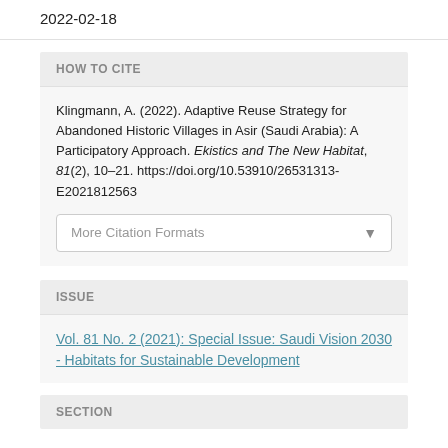2022-02-18
HOW TO CITE
Klingmann, A. (2022). Adaptive Reuse Strategy for Abandoned Historic Villages in Asir (Saudi Arabia): A Participatory Approach. Ekistics and The New Habitat, 81(2), 10–21. https://doi.org/10.53910/26531313-E2021812563
More Citation Formats
ISSUE
Vol. 81 No. 2 (2021): Special Issue: Saudi Vision 2030 - Habitats for Sustainable Development
SECTION